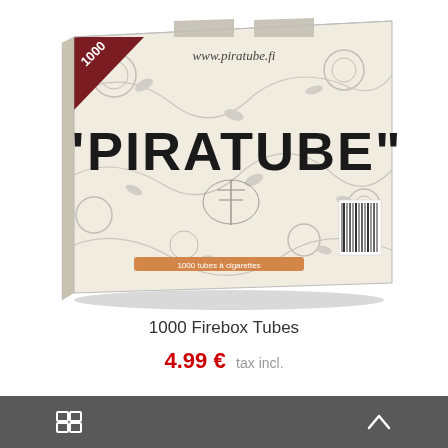[Figure (photo): A box of 1000 Piratube cigarette filter tubes. The box has a decorative floral and pirate-themed design in grey on white/cream background, with 'PIRATUBE' written in large bold dark letters on the front. The number 1000 appears in a dark red banner on the upper left corner. The website www.piratube.fi is printed at the top. There is a barcode on the right side and a product label at the bottom.]
1000 Firebox Tubes
4.99 € tax incl.